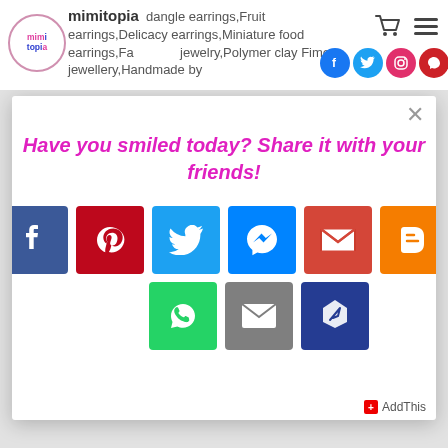mimitopia — dangle earrings, Fruit earrings, Delicacy earrings, Miniature food earrings, Fake food jewelry, Polymer clay Fimo jewellery, Handmade by
Have you smiled today? Share it with your friends!
[Figure (infographic): Social share buttons: Facebook (blue), Pinterest (red), Twitter (cyan/blue), Messenger (blue), Gmail (red), Blogger (orange), WhatsApp (green), Email (gray), Save/Pin (dark blue)]